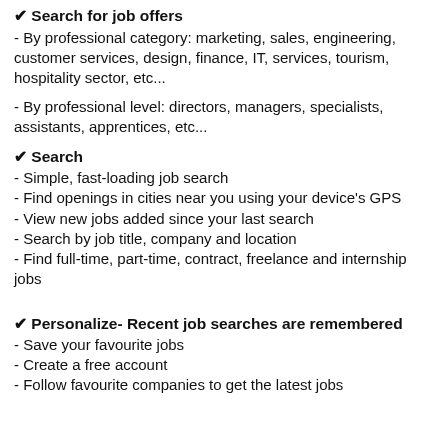✔ Search for job offers
- By professional category: marketing, sales, engineering, customer services, design, finance, IT, services, tourism, hospitality sector, etc...
- By professional level: directors, managers, specialists, assistants, apprentices, etc...
✔ Search
- Simple, fast-loading job search
- Find openings in cities near you using your device's GPS
- View new jobs added since your last search
- Search by job title, company and location
- Find full-time, part-time, contract, freelance and internship jobs
✔ Personalize- Recent job searches are remembered
- Save your favourite jobs
- Create a free account
- Follow favourite companies to get the latest jobs